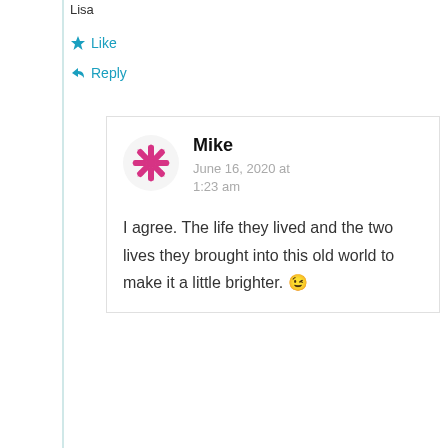Lisa
Like
Reply
Mike
June 16, 2020 at 1:23 am
I agree. The life they lived and the two lives they brought into this old world to make it a little brighter. 😉